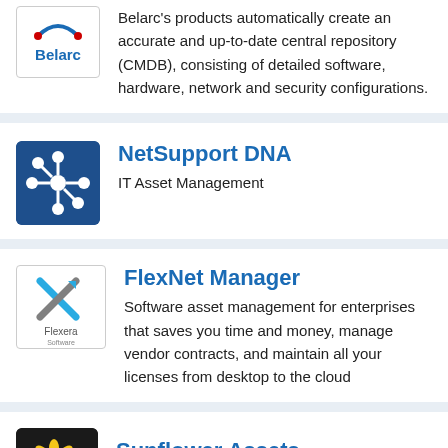[Figure (logo): Belarc logo — white box with 'Belarc' text and arc icon]
Belarc's products automatically create an accurate and up-to-date central repository (CMDB), consisting of detailed software, hardware, network and security configurations.
[Figure (logo): NetSupport DNA logo — dark blue square with network/hub icon]
NetSupport DNA
IT Asset Management
[Figure (logo): Flexera logo — white box with stylized X arrow icon and 'Flexera' text]
FlexNet Manager
Software asset management for enterprises that saves you time and money, manage vendor contracts, and maintain all your licenses from desktop to the cloud
[Figure (logo): Sunflower Assets logo — dark background with sunflower icon]
Sunflower Assets